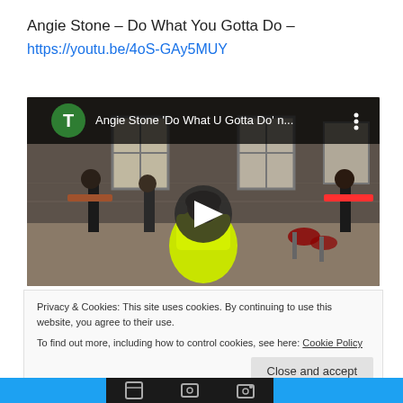Angie Stone – Do What You Gotta Do –
https://youtu.be/4oS-GAy5MUY
[Figure (screenshot): YouTube video thumbnail for Angie Stone 'Do What U Gotta Do' showing a woman in a yellow-green dress with musicians in a brick-walled studio space. The video has a play button overlay and top bar showing a green avatar with letter T, and the title 'Angie Stone 'Do What U Gotta Do' n...' with a vertical dots menu icon.]
Privacy & Cookies: This site uses cookies. By continuing to use this website, you agree to their use.
To find out more, including how to control cookies, see here: Cookie Policy
Close and accept